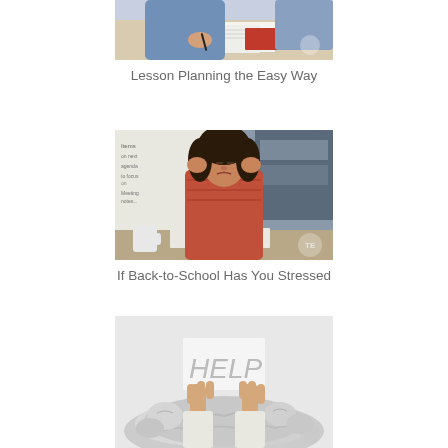[Figure (photo): Person writing/planning at a desk with papers, viewed from above, partially cropped]
Lesson Planning the Easy Way
[Figure (photo): Woman with curly hair sitting at a desk holding her head in stress, books open in front of her, whiteboard in background]
If Back-to-School Has You Stressed
[Figure (photo): Hands holding a HELP sign emerging from a pile of crumpled paper]